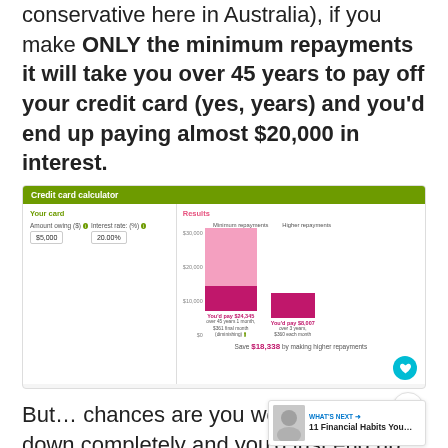conservative here in Australia), if you make ONLY the minimum repayments it will take you over 45 years to pay off your credit card (yes, years) and you'd end up paying almost $20,000 in interest.
[Figure (screenshot): Credit card calculator screenshot showing minimum vs higher repayments bar chart. Amount owing $5,000, interest rate 20.00%. Minimum repayments: You'd pay $24,345 over 45 years 1 month, $361 final month (diminishing). Higher repayments: You'd pay $8,007 over 3 years, $360 each month. Save $18,338 by making higher repayments.]
But… chances are you wouldn't pay it down completely and you'd just end up putting more and more on it, increasing the limit when they hand it out (because